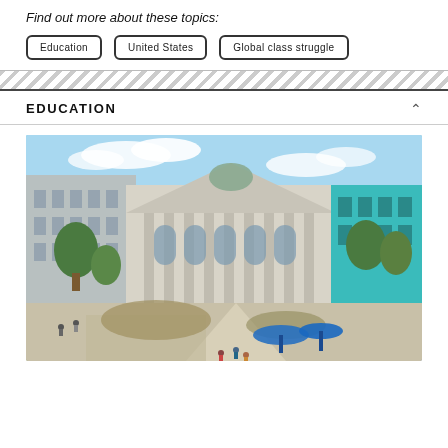Find out more about these topics:
Education
United States
Global class struggle
EDUCATION
[Figure (photo): Aerial/elevated view of a university campus showing a classical neoclassical building with large columns and arched windows in the center, flanked by modern buildings on the left and a teal/turquoise modern building on the right. Trees, pathways, students walking, and blue umbrellas visible in the foreground.]